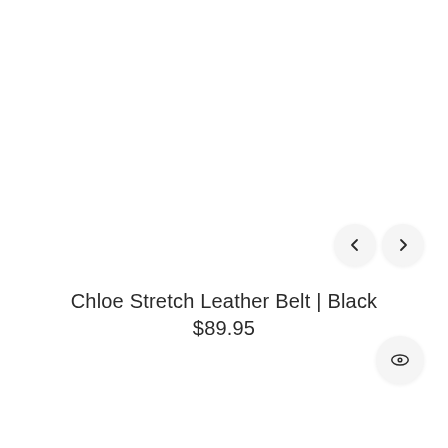[Figure (screenshot): Navigation arrows (left chevron and right chevron) inside circular buttons on the right side of the page]
Chloe Stretch Leather Belt | Black
$89.95
[Figure (illustration): Eye icon inside a circular button at the bottom right of the page]